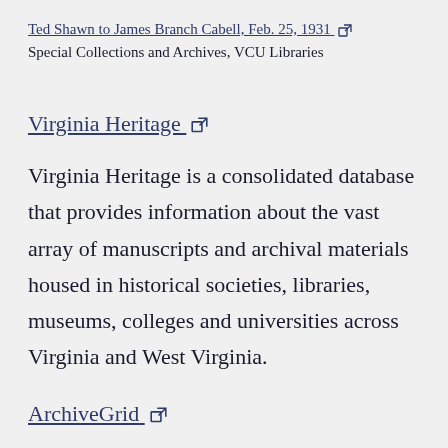Ted Shawn to James Branch Cabell, Feb. 25, 1931 ↗
Special Collections and Archives, VCU Libraries
Virginia Heritage ↗
Virginia Heritage is a consolidated database that provides information about the vast array of manuscripts and archival materials housed in historical societies, libraries, museums, colleges and universities across Virginia and West Virginia.
ArchiveGrid ↗